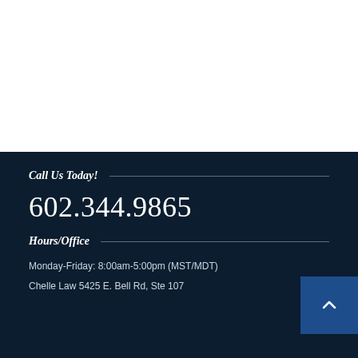Call Us Today!
602.344.9865
Hours/Office
Monday-Friday: 8:00am-5:00pm (MST/MDT)
Chelle Law 5425 E. Bell Rd, Ste 107